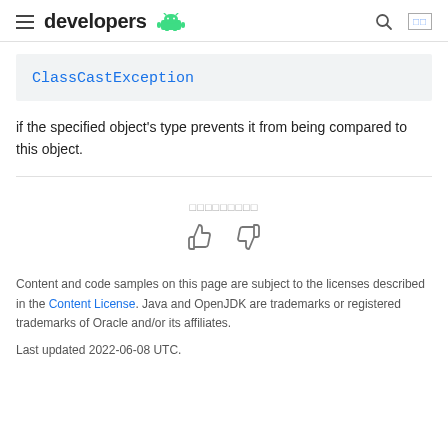developers
ClassCastException
if the specified object's type prevents it from being compared to this object.
Content and code samples on this page are subject to the licenses described in the Content License. Java and OpenJDK are trademarks or registered trademarks of Oracle and/or its affiliates.
Last updated 2022-06-08 UTC.